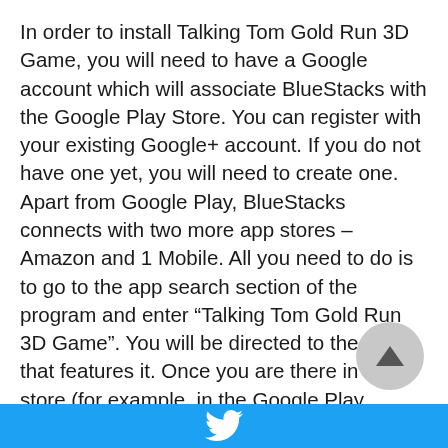In order to install Talking Tom Gold Run 3D Game, you will need to have a Google account which will associate BlueStacks with the Google Play Store. You can register with your existing Google+ account. If you do not have one yet, you will need to create one. Apart from Google Play, BlueStacks connects with two more app stores – Amazon and 1 Mobile. All you need to do is to go to the app search section of the program and enter “Talking Tom Gold Run 3D Game”. You will be directed to the store that features it. Once you are there in the store (for example, in the Google Play Store), you can then navigate the features of that specific store and find the Talking Tom Gold Run 3D G...
[Twitter share button]